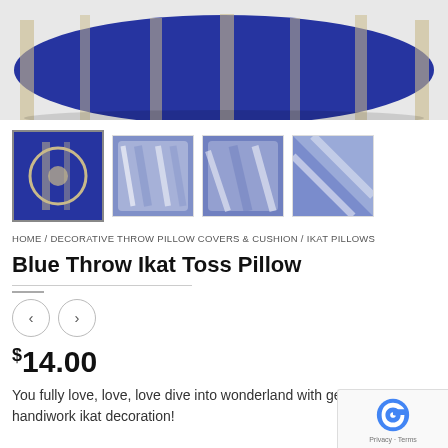[Figure (photo): Main product image of a blue and beige ikat pattern throw pillow on white background]
[Figure (photo): Four product thumbnail images: first shows a square blue ikat pillow with selected border, second shows a square blue-white ikat boxed pillow, third shows another angle of the blue ikat cushion, fourth shows a corner close-up of the pillow]
HOME / DECORATIVE THROW PILLOW COVERS & CUSHION / IKAT PILLOWS
Blue Throw Ikat Toss Pillow
$14.00
You fully love, love, love dive into wonderland with ge handiwork ikat decoration!